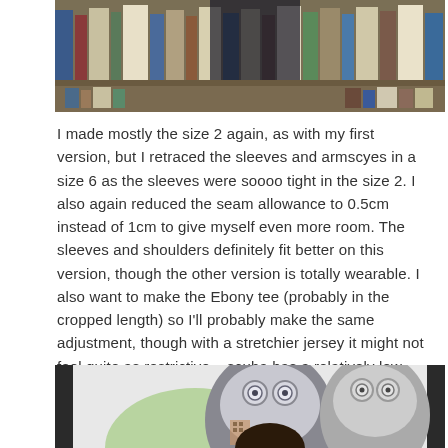[Figure (photo): Photo of a person standing in front of a bookshelf filled with books, partially cropped]
I made mostly the size 2 again, as with my first version, but I retraced the sleeves and armscyes in a size 6 as the sleeves were soooo tight in the size 2. I also again reduced the seam allowance to 0.5cm instead of 1cm to give myself even more room. The sleeves and shoulders definitely fit better on this version, though the other version is totally wearable. I also want to make the Ebony tee (probably in the cropped length) so I'll probably make the same adjustment, though with a stretchier jersey it might not feel quite as restrictive – scuba has a relatively low amount of stretch, at least judging from the 2 I've used.
[Figure (photo): Photo of a person in front of owl-themed decorations or artwork, cropped at bottom]